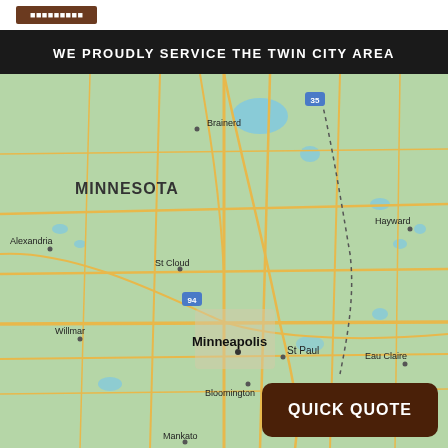[Figure (logo): Brown logo/button in top bar]
WE PROUDLY SERVICE THE TWIN CITY AREA
[Figure (map): Google Maps view of Minnesota showing Minneapolis, St Paul, Bloomington, St Cloud, Brainerd, Alexandria, Willmar, Mankato, Hayward, Eau Claire cities with road network]
QUICK QUOTE